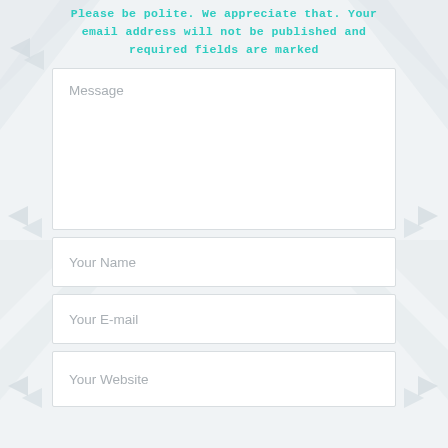Please be polite. We appreciate that. Your email address will not be published and required fields are marked
[Figure (other): Message input text area form field with placeholder text 'Message']
[Figure (other): Your Name input form field with placeholder text 'Your Name']
[Figure (other): Your E-mail input form field with placeholder text 'Your E-mail']
[Figure (other): Your Website input form field with placeholder text 'Your Website']